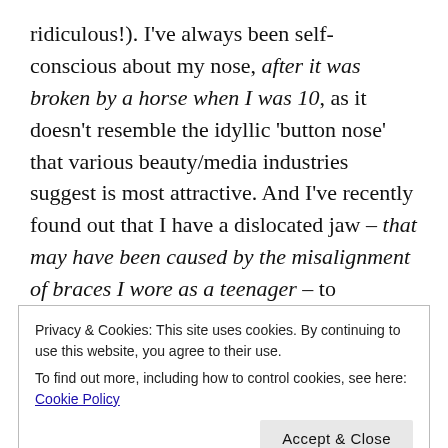ridiculous!). I've always been self-conscious about my nose, after it was broken by a horse when I was 10, as it doesn't resemble the idyllic 'button nose' that various beauty/media industries suggest is most attractive. And I've recently found out that I have a dislocated jaw – that may have been caused by the misalignment of braces I wore as a teenager – to accompany the damage braces did to the enamel of my teeth (the glue they used left a few small yellowish stains on my teeth that the dentist can't remove without damaging the enamel further), meaning I'm unlikely to ever have a lens worthy
Privacy & Cookies: This site uses cookies. By continuing to use this website, you agree to their use.
To find out more, including how to control cookies, see here: Cookie Policy
Accept & Close
y, y, g y,